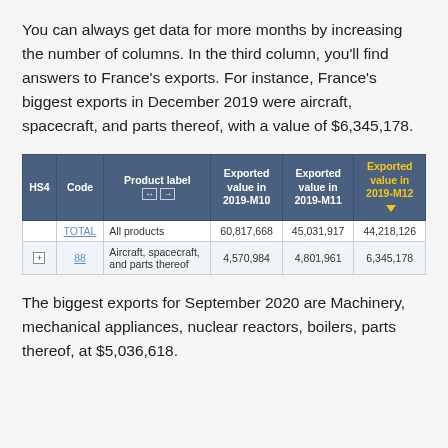You can always get data for more months by increasing the number of columns. In the third column, you'll find answers to France's exports. For instance, France's biggest exports in December 2019 were aircraft, spacecraft, and parts thereof, with a value of $6,345,178.
| HS4 | Code | Product label | Exported value in 2019-M10 | Exported value in 2019-M11 | Exported value in 2019-M12 |
| --- | --- | --- | --- | --- | --- |
|  | TOTAL | All products | 60,817,668 | 45,031,917 | 44,218,126 |
| + | 88 | Aircraft, spacecraft, and parts thereof | 4,570,984 | 4,801,961 | 6,345,178 |
The biggest exports for September 2020 are Machinery, mechanical appliances, nuclear reactors, boilers, parts thereof, at $5,036,618.